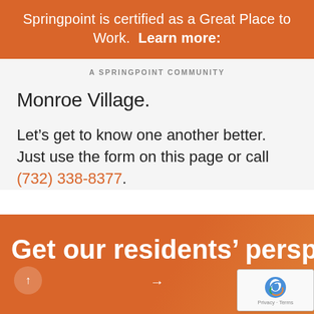Springpoint is certified as a Great Place to Work. Learn more:
A SPRINGPOINT COMMUNITY
Monroe Village.
Let’s get to know one another better. Just use the form on this page or call (732) 338-8377.
Get our residents’ perspect